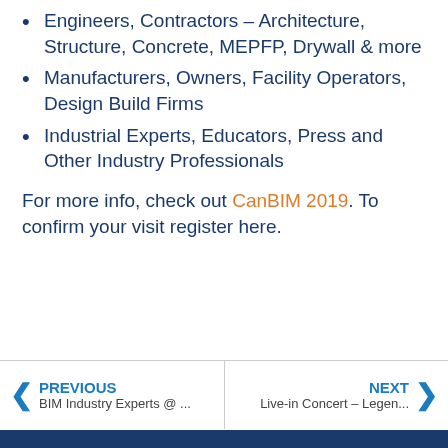Engineers, Contractors – Architecture, Structure, Concrete, MEPFP, Drywall & more
Manufacturers, Owners, Facility Operators, Design Build Firms
Industrial Experts, Educators, Press and Other Industry Professionals
For more info, check out CanBIM 2019. To confirm your visit register here.
PREVIOUS
BIM Industry Experts @ ...
NEXT
Live-in Concert – Legen...